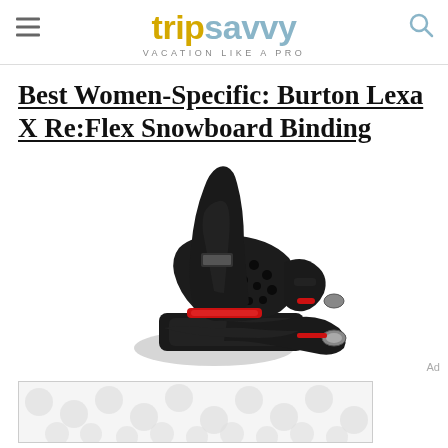tripsavvy — VACATION LIKE A PRO
Best Women-Specific: Burton Lexa X Re:Flex Snowboard Binding
[Figure (photo): Product photo of Burton Lexa X Re:Flex Snowboard Binding — a black snowboard binding with red accents, shown against a white background]